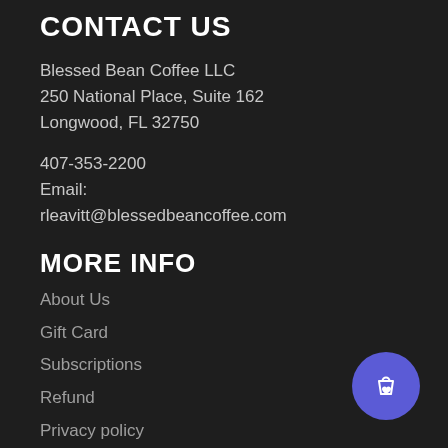CONTACT US
Blessed Bean Coffee LLC
250 National Place, Suite 162
Longwood, FL 32750
407-353-2200
Email:
rleavitt@blessedbeancoffee.com
MORE INFO
About Us
Gift Card
Subscriptions
Refund
Privacy policy